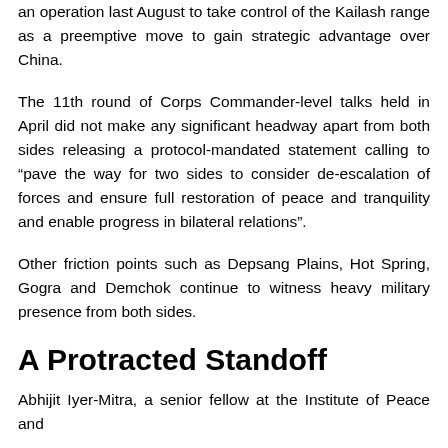an operation last August to take control of the Kailash range as a preemptive move to gain strategic advantage over China.
The 11th round of Corps Commander-level talks held in April did not make any significant headway apart from both sides releasing a protocol-mandated statement calling to “pave the way for two sides to consider de-escalation of forces and ensure full restoration of peace and tranquility and enable progress in bilateral relations”.
Other friction points such as Depsang Plains, Hot Spring, Gogra and Demchok continue to witness heavy military presence from both sides.
A Protracted Standoff
Abhijit Iyer-Mitra, a senior fellow at the Institute of Peace and